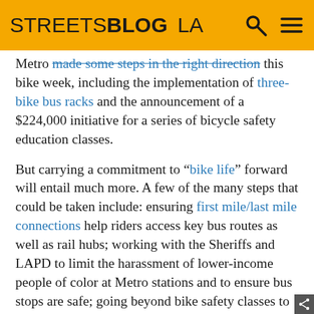STREETSBLOG LA
Metro made some steps in the right direction this bike week, including the implementation of three-bike bus racks and the announcement of a $224,000 initiative for a series of bicycle safety education classes.
But carrying a commitment to “bike life” forward will entail much more. A few of the many steps that could be taken include: ensuring first mile/last mile connections help riders access key bus routes as well as rail hubs; working with the Sheriffs and LAPD to limit the harassment of lower-income people of color at Metro stations and to ensure bus stops are safe; going beyond bike safety classes to support the building of bike co-ops, repair stations, or even weekly or bi-weekly repair pop-ups to be sited at important though invisible in conversations focused...